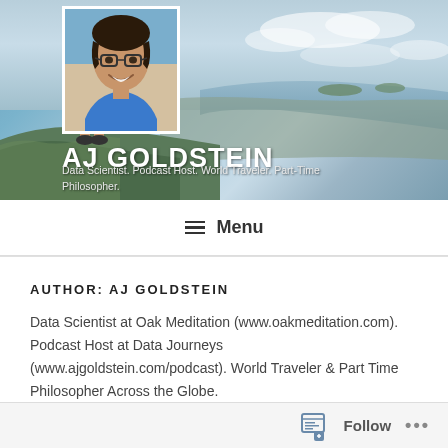[Figure (photo): Website header banner showing a panoramic aerial/hillside landscape view with blue sky and cityscape below. Profile photo of AJ Goldstein (man with glasses smiling, wearing blue shirt) overlaid in upper left of banner. A runner figure partially visible behind the profile photo.]
AJ GOLDSTEIN
Data Scientist. Podcast Host. World Traveler. Part-Time Philosopher.
≡ Menu
AUTHOR: AJ GOLDSTEIN
Data Scientist at Oak Meditation (www.oakmeditation.com). Podcast Host at Data Journeys (www.ajgoldstein.com/podcast). World Traveler & Part Time Philosopher Across the Globe.
Follow ...